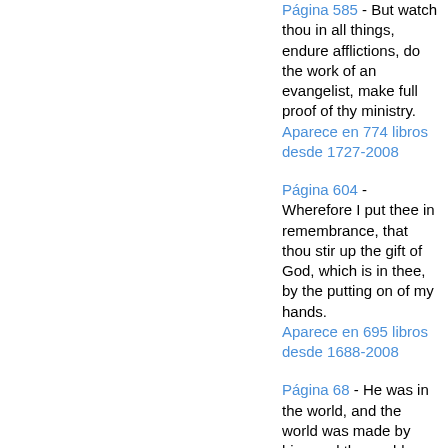Página 585 - But watch thou in all things, endure afflictions, do the work of an evangelist, make full proof of thy ministry. Aparece en 774 libros desde 1727-2008
Página 604 - Wherefore I put thee in remembrance, that thou stir up the gift of God, which is in thee, by the putting on of my hands. Aparece en 695 libros desde 1688-2008
Página 68 - He was in the world, and the world was made by him, and the world knew him not. He came unto his own, and his own received